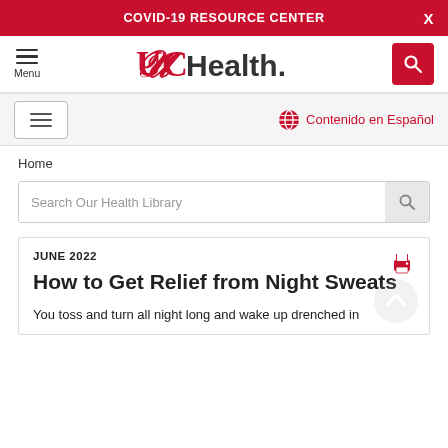COVID-19 RESOURCE CENTER
[Figure (logo): UC Health logo with stylized UC monogram and wordmark]
Contenido en Español
Home
Search Our Health Library
JUNE 2022
How to Get Relief from Night Sweats
You toss and turn all night long and wake up drenched in